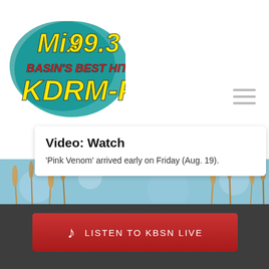[Figure (logo): Mix 99.3 BASIN'S BEST HITS! KDRM-FM radio station logo with yellow and red stylized text on teal/blue splash background]
Video: Watch
'Pink Venom' arrived early on Friday (Aug. 19).
[Figure (photo): Nature photo with wheat or grass stalks against a blurred blue sky/water background]
LISTEN TO KBSN LIVE